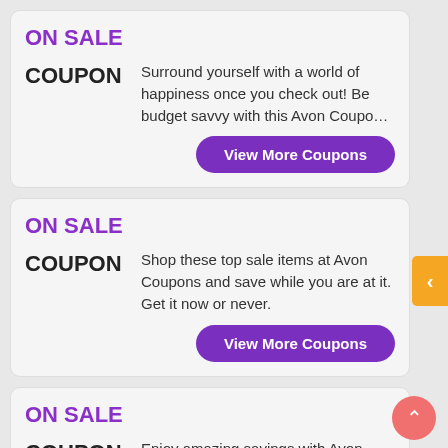ON SALE
COUPON
Surround yourself with a world of happiness once you check out! Be budget savvy with this Avon Coupo…
View More Coupons
ON SALE
COUPON
Shop these top sale items at Avon Coupons and save while you are at it. Get it now or never.
View More Coupons
ON SALE
COUPON
Enjoy amazing savings with Avon Coupons coupon. These deals are exclusive only here.